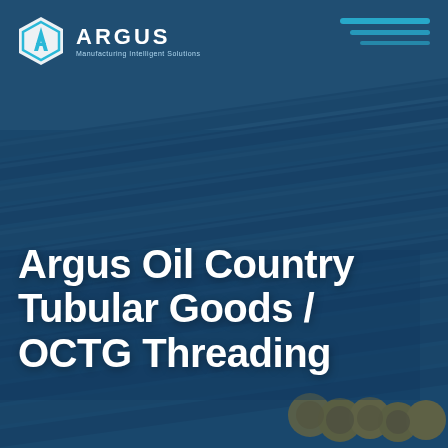[Figure (photo): Industrial pipes/tubular goods stacked in rows viewed from an angle, with yellow protective end caps visible at bottom right. Background shows a manufacturing facility. Image has a deep blue teal color overlay.]
ARGUS — Manufacturing Intelligent Solutions
Argus Oil Country Tubular Goods / OCTG Threading